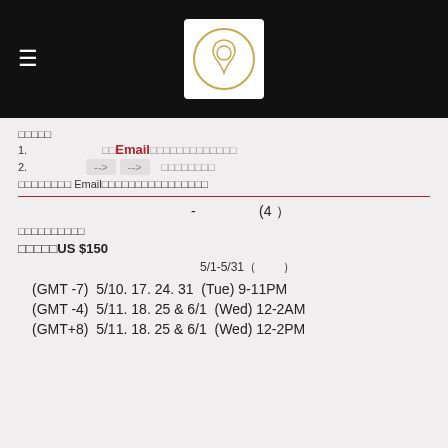≡  [logo]
□□□□□
1.  □□Email□□□□□□□□□□□□□
2.  --> --> □□□□□□□□
□□□□□□□□ Email□□□□□□□□□□□□□□□□
- (4）
□□□□□□□□□□
□□□□□US $150
5/1-5/31（　　　）
(GMT -7)  5/10. 17. 24. 31  (Tue) 9-11PM
(GMT -4)  5/11. 18. 25 & 6/1  (Wed) 12-2AM
(GMT+8)  5/11. 18. 25 & 6/1  (Wed) 12-2PM